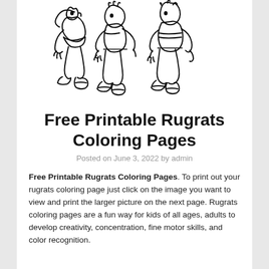[Figure (illustration): Black and white line drawing of Rugrats cartoon characters (Angelica and Tommy) in a playful scuffle, shown from roughly the waist down with sneakers visible]
Free Printable Rugrats Coloring Pages
Posted on June 3, 2022 by admin
Free Printable Rugrats Coloring Pages. To print out your rugrats coloring page just click on the image you want to view and print the larger picture on the next page. Rugrats coloring pages are a fun way for kids of all ages, adults to develop creativity, concentration, fine motor skills, and color recognition.